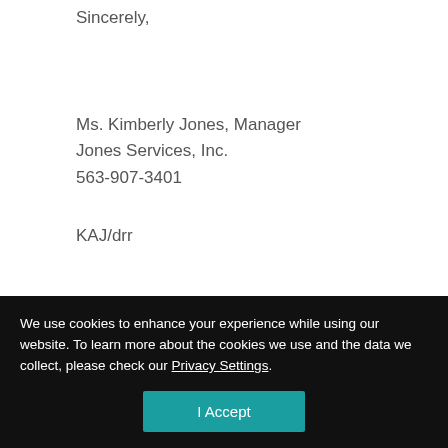Sincerely,
Ms. Kimberly Jones, Manager
Jones Services, Inc.
563-907-3401
KAJ/drr
Enclosures: 2
We use cookies to enhance your experience while using our website. To learn more about the cookies we use and the data we collect, please check our Privacy Settings.
I Accept